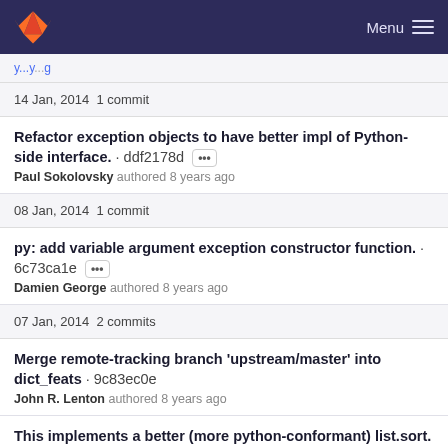GitLab Menu
(partial link/navigation bar)
14 Jan, 2014 1 commit
Refactor exception objects to have better impl of Python-side interface. · ddf2178d
Paul Sokolovsky authored 8 years ago
08 Jan, 2014 1 commit
py: add variable argument exception constructor function. · 6c73ca1e
Damien George authored 8 years ago
07 Jan, 2014 2 commits
Merge remote-tracking branch 'upstream/master' into dict_feats · 9c83ec0e
John R. Lenton authored 8 years ago
This implements a better (more python-conformant) list.sort.